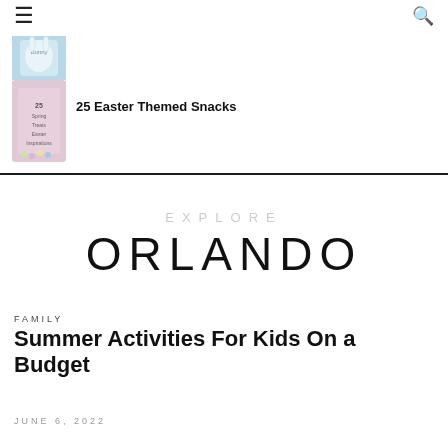Navigation header with hamburger menu and search icon
[Figure (photo): Thumbnail image of a bunny-themed item, partially cropped at top]
[Figure (photo): Thumbnail of pink card reading '25 Spring Treats Easter Inspirations']
25 Easter Themed Snacks
[Figure (infographic): Explore Orlando banner with light gray EXPLORE label and large ORLANDO text]
FAMILY
Summer Activities For Kids On a Budget
JUNE 6, 2022